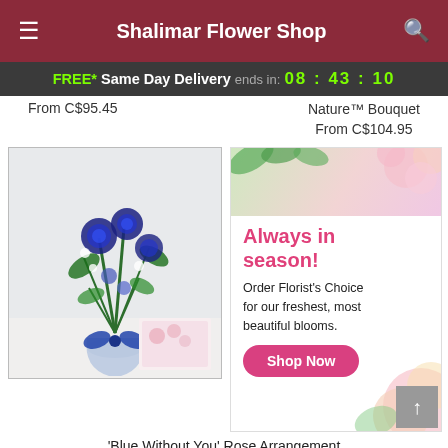Shalimar Flower Shop
FREE* Same Day Delivery ends in: 08:43:10
From C$95.45
Nature™ Bouquet
From C$104.95
[Figure (photo): Photo of 'Blue Without You' Rose Arrangement - a vase of blue roses with greenery and a blue bow, with a floral greeting card behind it]
'Blue Without You' Rose Arrangement
From C$100.99
[Figure (infographic): Promotional banner with pink flowers, reading 'Always in season! Order Florist's Choice for our freshest, most beautiful blooms.' with a pink 'Shop Now' button]